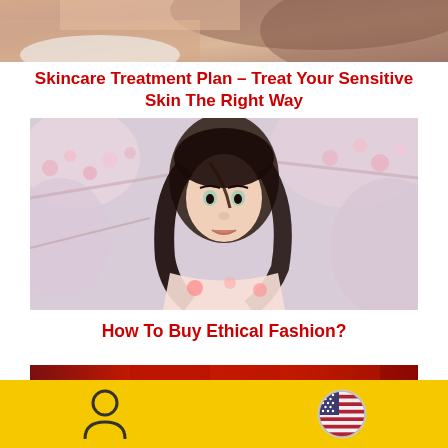[Figure (photo): Partial view of a person's back/shoulder area, skin and hair visible, cropped at top of page]
Skincare Treatment Plan – Treat Your Sensitive Skin The Right Way
[Figure (photo): Young woman with dark hair standing among pink cherry blossom branches, wearing a floral off-shoulder top, looking back at camera]
How To Buy Ethical Fashion?
[Figure (photo): Partially visible image showing colorful traditional/cultural clothing with red and gold tones]
User icon and US flag icon on yellow background